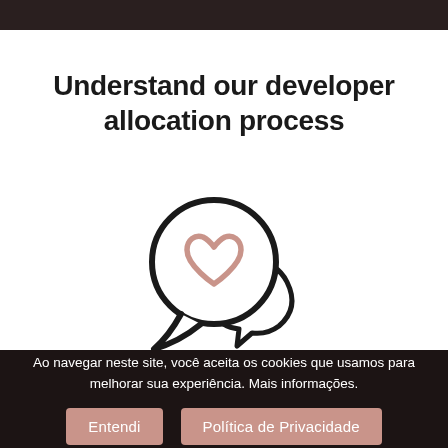Understand our developer allocation process
[Figure (illustration): Two speech bubbles overlapping; the foreground bubble contains a heart icon in pink/rose color. Drawn in a line-art style with dark outlines on white background.]
Ao navegar neste site, você aceita os cookies que usamos para melhorar sua experiência. Mais informações.
Entendi
Política de Privacidade